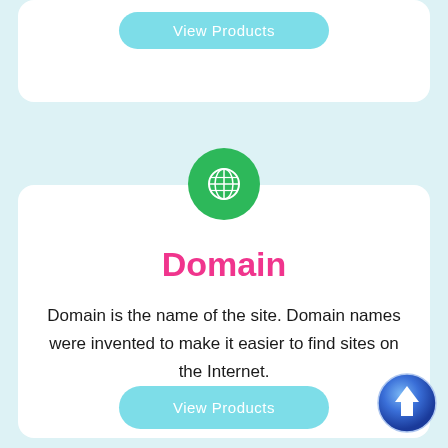[Figure (screenshot): Top card with View Products button (partially visible)]
[Figure (illustration): Green circle with white globe/grid icon]
Domain
Domain is the name of the site. Domain names were invented to make it easier to find sites on the Internet.
[Figure (screenshot): View Products teal rounded button]
[Figure (illustration): Blue 3D up-arrow circular button in bottom right corner]